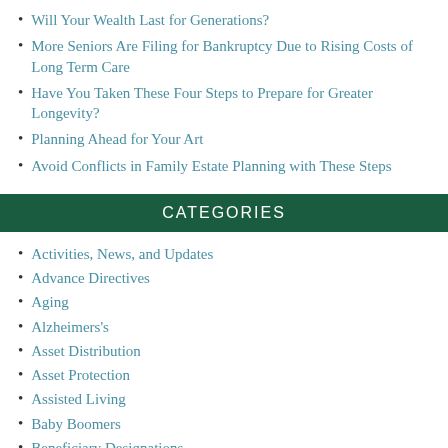Will Your Wealth Last for Generations?
More Seniors Are Filing for Bankruptcy Due to Rising Costs of Long Term Care
Have You Taken These Four Steps to Prepare for Greater Longevity?
Planning Ahead for Your Art
Avoid Conflicts in Family Estate Planning with These Steps
CATEGORIES
Activities, News, and Updates
Advance Directives
Aging
Alzheimers's
Asset Distribution
Asset Protection
Assisted Living
Baby Boomers
Beneficiary Designations
Blended Families
Business Planning
Caregivers